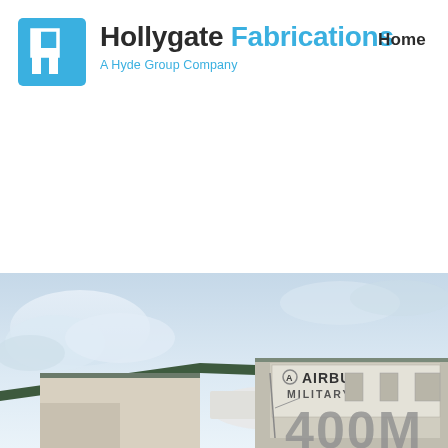Hollygate Fabrications — A Hyde Group Company — Home
[Figure (logo): Hollygate Fabrications logo: blue square with white letter h, followed by 'Hollygate' in dark text and 'Fabrications' in blue text, with tagline 'A Hyde Group Company' in blue]
Home
[Figure (photo): Photograph showing an Airbus Military aircraft or facility with signage reading 'AIRBUS MILITARY' visible on a building structure, with sky and rooftop in view]